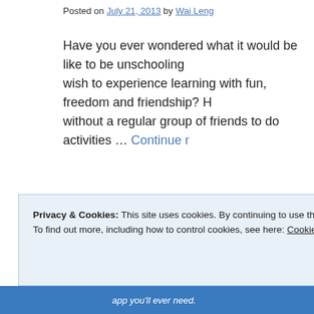Posted on July 21, 2013 by Wai Leng
Have you ever wondered what it would be like to be unschooling wish to experience learning with fun, freedom and friendship? H without a regular group of friends to do activities … Continue r
Posted in Activities, CLiC Activities, Cooperative Learning Initiative, Creativity, Networking Activities, Programs @ CLiC, Uncategorized | 6 Comments
Privacy & Cookies: This site uses cookies. By continuing to use this website, you agree to their use.
To find out more, including how to control cookies, see here: Cookie Policy